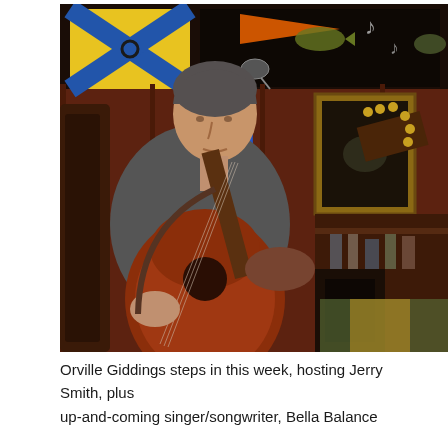[Figure (photo): A man playing an acoustic guitar while seated, leaning over the instrument. He is in what appears to be a bar or club interior with nautical flags and decorations in the background. A microphone stand is in front of him. The guitar is a large-bodied acoustic with a reddish-brown finish.]
Orville Giddings steps in this week, hosting Jerry Smith, plus up-and-coming singer/songwriter, Bella Balance